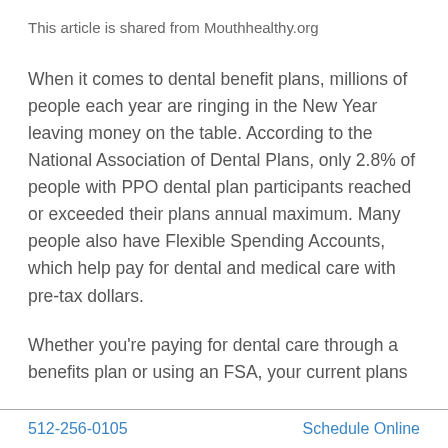This article is shared from Mouthhealthy.org
When it comes to dental benefit plans, millions of people each year are ringing in the New Year leaving money on the table. According to the National Association of Dental Plans, only 2.8% of people with PPO dental plan participants reached or exceeded their plans annual maximum. Many people also have Flexible Spending Accounts, which help pay for dental and medical care with pre-tax dollars.
Whether you’re paying for dental care through a benefits plan or using an FSA, your current plans
512-256-0105    Schedule Online